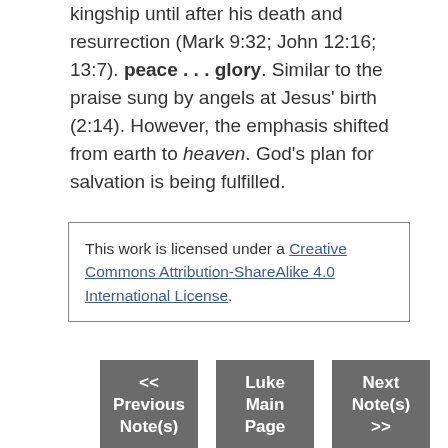could not understand the nature of his messianic kingship until after his death and resurrection (Mark 9:32; John 12:16; 13:7). peace . . . glory. Similar to the praise sung by angels at Jesus' birth (2:14). However, the emphasis shifted from earth to heaven. God's plan for salvation is being fulfilled.
This work is licensed under a Creative Commons Attribution-ShareAlike 4.0 International License.
<< Previous Note(s)
Luke Main Page
Next Note(s) >>